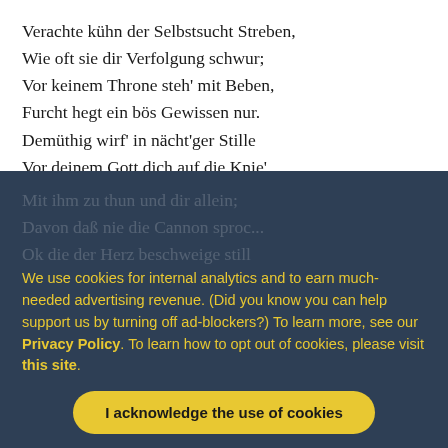Verachte kühn der Selbstsucht Streben,
Wie oft sie dir Verfolgung schwur;
Vor keinem Throne steh' mit Beben,
Furcht hegt ein bös Gewissen nur.
Demüthig wirf' in nächt'ger Stille
Vor deinem Gott dich auf die Knie'
Und bete: 'Es gescheh' dein Wille!'
Doch vor den Menscheu beug' dich nie.

Und wenn dir Gottes Rathschluß sendet
Der schwersten Prüfung höchste Pein,
Dann hast du's, [ganz ihm]⁴ zugewendet,
Mit ihm zu thun und dir allein;
Davon daß nie die Cannon sproc...
Ok die der Herz beschweige still
We use cookies for internal analytics and to earn much-needed advertising revenue. (Did you know you can help support us by turning off ad-blockers?) To learn more, see our Privacy Policy. To learn how to opt out of cookies, please visit this site.